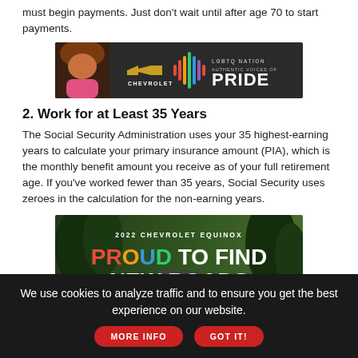must begin payments. Just don't wait until after age 70 to start payments.
[Figure (photo): Chevrolet advertisement — LGBTQ Nation Authentic Voices of Pride banner with a person and colorful soundwave graphic]
2. Work for at Least 35 Years
The Social Security Administration uses your 35 highest-earning years to calculate your primary insurance amount (PIA), which is the monthly benefit amount you receive as of your full retirement age. If you've worked fewer than 35 years, Social Security uses zeroes in the calculation for the non-earning years.
[Figure (photo): 2022 Chevrolet Equinox — PROUD TO FIND NEW ROADS advertisement with colorful text over forest background]
We use cookies to analyze traffic and to ensure you get the best experience on our website.